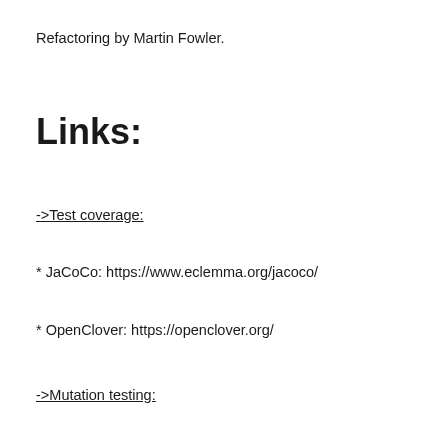Refactoring by Martin Fowler.
Links:
->Test coverage:
* JaCoCo: https://www.eclemma.org/jacoco/
* OpenClover: https://openclover.org/
->Mutation testing: